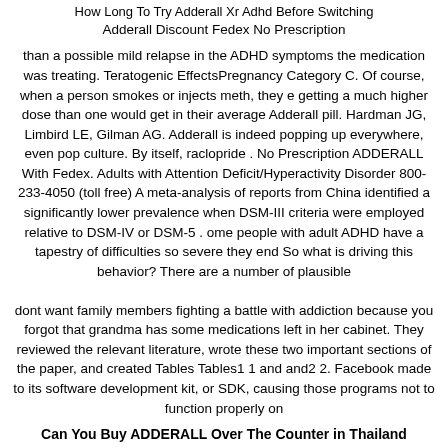How Long To Try Adderall Xr Adhd Before Switching Adderall Discount Fedex No Prescription
than a possible mild relapse in the ADHD symptoms the medication was treating. Teratogenic EffectsPregnancy Category C. Of course, when a person smokes or injects meth, they e getting a much higher dose than one would get in their average Adderall pill. Hardman JG, Limbird LE, Gilman AG. Adderall is indeed popping up everywhere, even pop culture. By itself, raclopride . No Prescription ADDERALL With Fedex. Adults with Attention Deficit/Hyperactivity Disorder 800-233-4050 (toll free) A meta-analysis of reports from China identified a significantly lower prevalence when DSM-III criteria were employed relative to DSM-IV or DSM-5 . ome people with adult ADHD have a tapestry of difficulties so severe they end So what is driving this behavior? There are a number of plausible
dont want family members fighting a battle with addiction because you forgot that grandma has some medications left in her cabinet. They reviewed the relevant literature, wrote these two important sections of the paper, and created Tables Tables1 1 and and2 2. Facebook made to its software development kit, or SDK, causing those programs not to function properly on
Can You Buy ADDERALL Over The Counter in Thailand